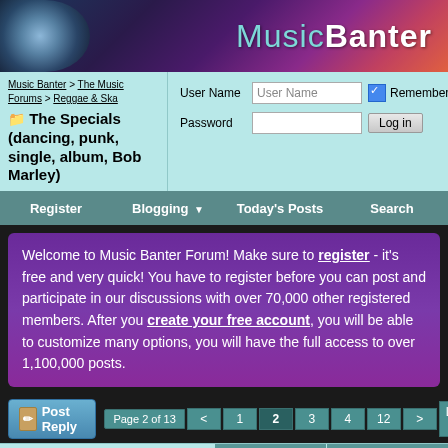[Figure (screenshot): MusicBanter website banner with logo and colorful background showing CDs and stage lighting]
Music Banter > The Music Forums > Reggae & Ska
The Specials (dancing, punk, single, album, Bob Marley)
User Name [input] Remember Me? Password [input] [Log in button]
Register  Blogging ▼  Today's Posts  Search
Welcome to Music Banter Forum! Make sure to register - it's free and very quick! You have to register before you can post and participate in our discussions with over 70,000 other registered members. After you create your free account, you will be able to customize many options, you will have the full access to over 1,100,000 posts.
Post Reply   Page 2 of 13 < 1 2 3 4 12 > Last »
Thread Tools ▼  Display Modes ▼